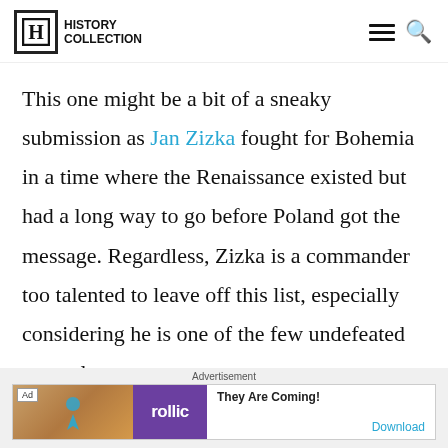HISTORY COLLECTION
This one might be a bit of a sneaky submission as Jan Zizka fought for Bohemia in a time where the Renaissance existed but had a long way to go before Poland got the message. Regardless, Zizka is a commander too talented to leave off this list, especially considering he is one of the few undefeated generals.
Advertisement